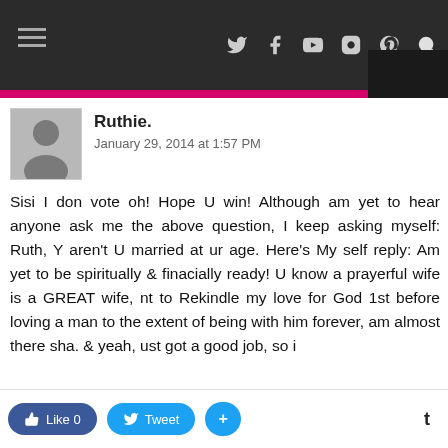Navigation bar with social icons: Twitter, Facebook, YouTube, Instagram, Pinterest, Search
Ruthie.
January 29, 2014 at 1:57 PM
Sisi I don vote oh! Hope U win! Although am yet to hear anyone ask me the above question, I keep asking myself: Ruth, Y aren't U married at ur age. Here's My self reply: Am yet to be spiritually & finacially ready! U know a prayerful wife is a GREAT wife, nt to Rekindle my love for God 1st before loving a man to the extent of being with him forever, am almost there sha. & yeah, ust got a good job, so i
Like 0  Tweet  +  t